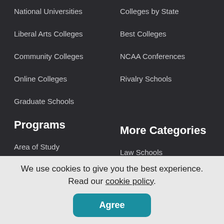National Universities
Colleges by State
Liberal Arts Colleges
Best Colleges
Community Colleges
NCAA Conferences
Online Colleges
Rivalry Schools
Graduate Schools
Programs
More Categories
Area of Study
Law Schools
Career Programs
Women's Colleges
We use cookies to give you the best experience. Read our cookie policy.
Agree